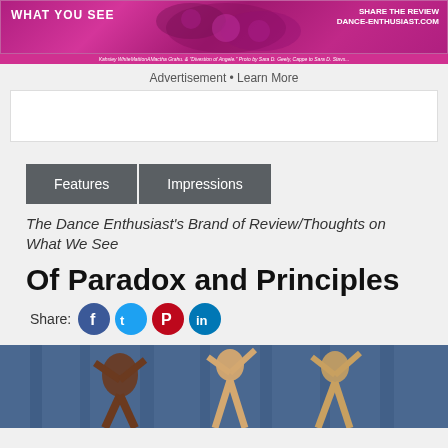[Figure (photo): Dance Enthusiast banner ad with pink/magenta background showing 'WHAT YOU SEE' text and 'DANCE-ENTHUSIAST.COM' on right side, with dancer imagery]
Kahsiey WhiteMattionAMactha Grahu. & 'Divestion of Angele.' Proto by Sara D. Geely, Cappe to Sara D. Stavs...
Advertisement • Learn More
[Figure (other): White advertisement box placeholder]
Features
Impressions
The Dance Enthusiast's Brand of Review/Thoughts on What We See
Of Paradox and Principles
Share:
[Figure (photo): Dancers performing on stage with blue curtain backdrop, showing multiple performers with arms raised]